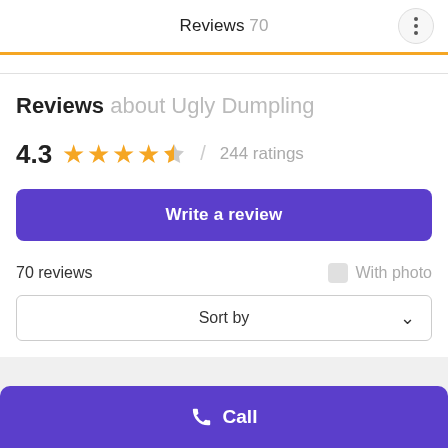Reviews 70
Reviews about Ugly Dumpling
4.3 / 244 ratings
Write a review
70 reviews
With photo
Sort by
Call